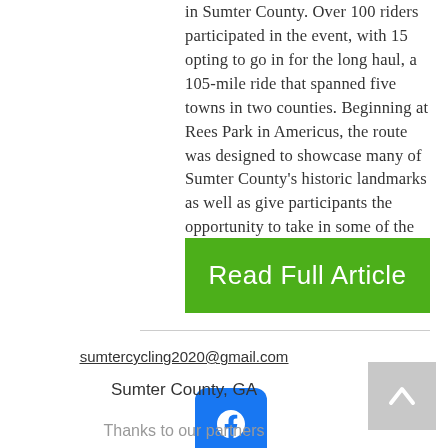in Sumter County. Over 100 riders participated in the event, with 15 opting to go in for the long haul, a 105-mile ride that spanned five towns in two counties. Beginning at Rees Park in Americus, the route was designed to showcase many of Sumter County's historic landmarks as well as give participants the opportunity to take in some of the gorgeous scenery in around the area.
Read Full Article
sumtercycling2020@gmail.com
[Figure (logo): Facebook logo icon in blue]
Sumter County, GA
Thanks to our partners